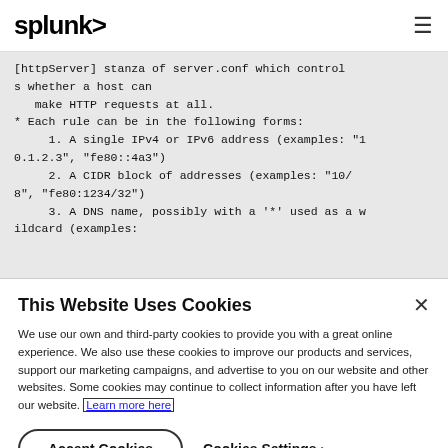splunk>
[httpServer] stanza of server.conf which controls whether a host can
   make HTTP requests at all.
* Each rule can be in the following forms:
     1. A single IPv4 or IPv6 address (examples: "10.1.2.3", "fe80::4a3")
     2. A CIDR block of addresses (examples: "10/8", "fe80:1234/32")
     3. A DNS name, possibly with a '*' used as a wildcard (examples:
This Website Uses Cookies
We use our own and third-party cookies to provide you with a great online experience. We also use these cookies to improve our products and services, support our marketing campaigns, and advertise to you on our website and other websites. Some cookies may continue to collect information after you have left our website. Learn more here
Accept Cookies
Cookies Settings ›